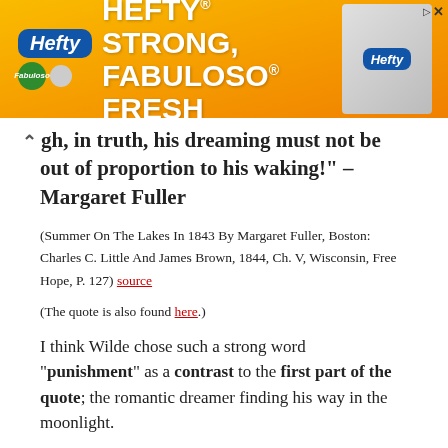[Figure (illustration): Hefty advertisement banner with orange background showing 'HEFTY STRONG, FABULOSO FRESH' text with Hefty and Fabuloso logos and a product image on the right.]
gh, in truth, his dreaming must not be out of proportion to his waking!" – Margaret Fuller
(Summer On The Lakes In 1843 By Margaret Fuller, Boston: Charles C. Little And James Brown, 1844, Ch. V, Wisconsin, Free Hope, P. 127) source
(The quote is also found here.)
I think Wilde chose such a strong word “punishment” as a contrast to the first part of the quote; the romantic dreamer finding his way in the moonlight.
A dreamers is usually deemed as a free spirit who